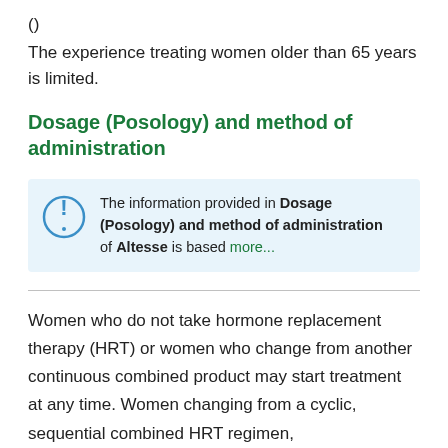()
The experience treating women older than 65 years is limited.
Dosage (Posology) and method of administration
The information provided in Dosage (Posology) and method of administration of Altesse is based more...
Women who do not take hormone replacement therapy (HRT) or women who change from another continuous combined product may start treatment at any time. Women changing from a cyclic, sequential combined HRT regimen,